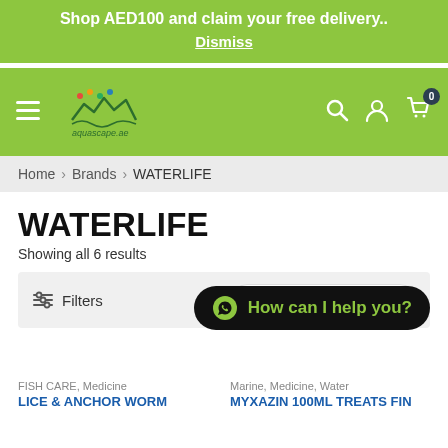Shop AED100 and claim your free delivery.. Dismiss
[Figure (logo): aquascape.ae logo with mountain/fish silhouette graphic and navigation icons (hamburger menu, search, profile, cart with 0 badge)]
Home > Brands > WATERLIFE
WATERLIFE
Showing all 6 results
Filters   Default sorting
How can I help you?
FISH CARE, Medicine
LICE & ANCHOR WORM
Marine, Medicine, Water
MYXAZIN 100ML TREATS FIN